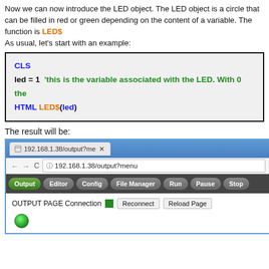Now we can now introduce the LED object. The LED object is a circle that can be filled in red or green depending on the content of a variable. The function is LED$
As usual, let's start with an example:
[Figure (screenshot): Code box showing BASIC-like code: CLS / led = 1  'this is the variable associated with the LED. With 0 the... / HTML LED$(led)]
The result will be:
[Figure (screenshot): Browser screenshot showing 192.168.1.38/output?menu with navigation bar (Output highlighted green, Editor, Config, File Manager, Run, Pause, Stop), OUTPUT PAGE Connection green square, Reconnect and Reload Page buttons, and a green LED circle in the content area.]